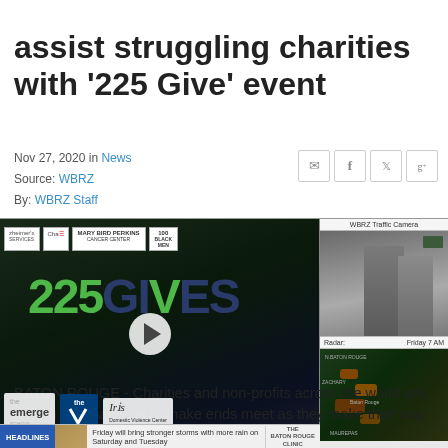assist struggling charities with '225 Give' event
Nov 27, 2020 in News
Source: WBRZ
By: WBRZ Staff
[Figure (screenshot): Video thumbnail showing 225 Gives charity event logos including Mary Bird Perkins Cancer Center, 100 Black Men, the Emerge School, YMCA, and Iris Domestic Violence Center. A play button overlay is visible. A sidebar shows WBRZ Traffic Camera and Radar Friday 7 AM. A ticker bar at the bottom reads 'HEADLINES: Friday will bring stronger storms with more rain on Saturday and Tuesday'.]
BATON ROUGE - Charities and non-profits across the world are finding it a challenge to make ends meet as they make their way through the COVID-19 pandemic.